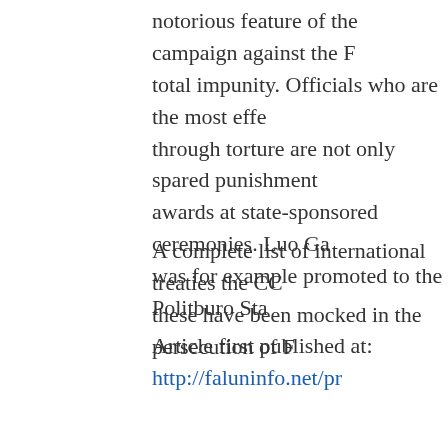notorious feature of the campaign against the F... total impunity. Officials who are the most effe... through torture are not only spared punishment... awards at state-sponsored ceremonies. Luo Ga... was for example promoted to the Politburo Sta...
A complete list of international treaties the CC... these have been mocked in the persecution of F...
Article first published at: http://faluninfo.net/pr...